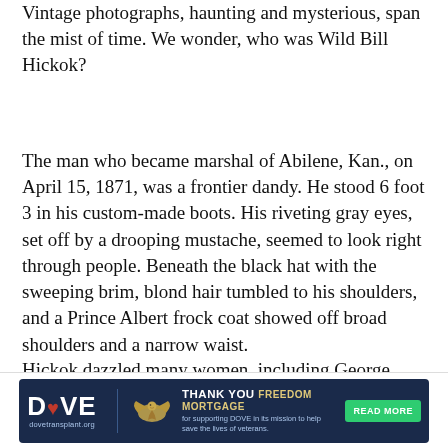Vintage photographs, haunting and mysterious, span the mist of time. We wonder, who was Wild Bill Hickok?
The man who became marshal of Abilene, Kan., on April 15, 1871, was a frontier dandy. He stood 6 foot 3 in his custom-made boots. His riveting gray eyes, set off by a drooping mustache, seemed to look right through people. Beneath the black hat with the sweeping brim, blond hair tumbled to his shoulders, and a Prince Albert frock coat showed off broad shoulders and a narrow waist.
Hickok dazzled many women, including George Armstrong Custer's wife, Libbie. There were even rumors of an affair. In any case, Libbie Custer wrote
[Figure (other): DOVE transplant advertisement banner with DOVE logo, thank you message to Freedom Mortgage for supporting DOVE's mission to save the lives of veterans, and a READ MORE button.]